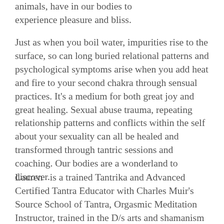animals, have in our bodies to experience pleasure and bliss.
Just as when you boil water, impurities rise to the surface, so can long buried relational patterns and psychological symptoms arise when you add heat and fire to your second chakra through sensual practices. It's a medium for both great joy and great healing. Sexual abuse trauma, repeating relationship patterns and conflicts within the self about your sexuality can all be healed and transformed through tantric sessions and coaching. Our bodies are a wonderland to discover.
Lauren  is a trained Tantrika and Advanced Certified Tantra Educator with Charles Muir's Source School of Tantra, Orgasmic Meditation Instructor, trained in the D/s arts and shamanism with Om Rupani, Graduate of Mama Gena's School of Womanly Arts...